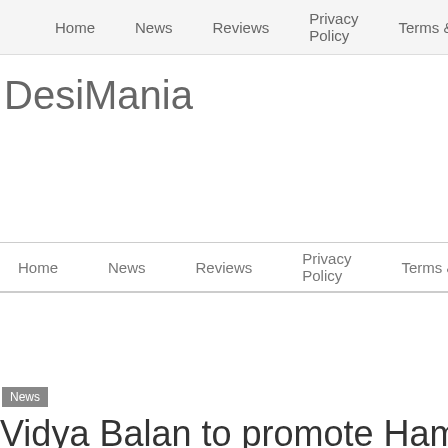Home   News   Reviews   Privacy Policy   Terms & Conditions
DesiMania
Home   News   Reviews   Privacy Policy   Terms & Condi
News
Vidya Balan to promote Hama Karo Na Mujhe Pyar